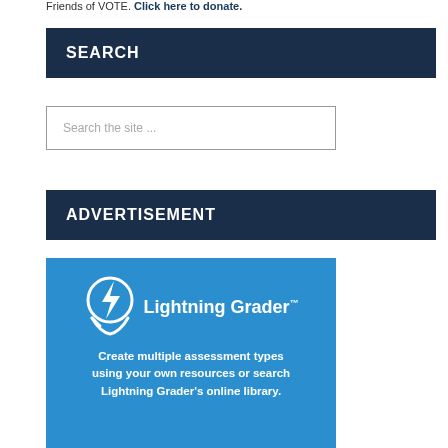Friends of VOTE. Click here to donate.
SEARCH
Search the site ...
ADVERTISEMENT
[Figure (illustration): Lightning Grader advertisement banner. Blue background with Lightning Grader logo (lightning bolt inside a circle with checkmark) and text: 'Create multiple assessment types using your own resources or search Lightning Grader's online library.']